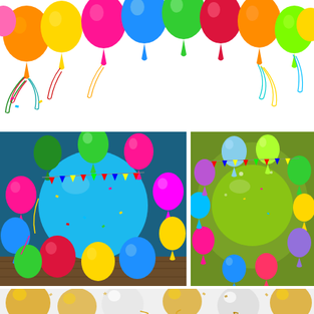[Figure (illustration): Colorful balloons arranged along the top edge of a white background, with curling ribbons and streamers hanging down. Balloons are orange, yellow, green, blue, pink, red, and multicolor.]
[Figure (illustration): A circle of colorful balloons (green, pink, blue, yellow, red) surrounding a light blue circular center, with bunting flags and confetti scattered around. Dark background with wooden floor.]
[Figure (illustration): Colorful balloons (yellow, green, blue, pink, purple, red) arranged around a green circle in the center, with bunting flags and confetti, on an olive/green background.]
[Figure (illustration): Partial view of gold/yellow and white balloons with gold curling ribbon streamers on a light gray/white background, partially visible at the bottom of the page.]